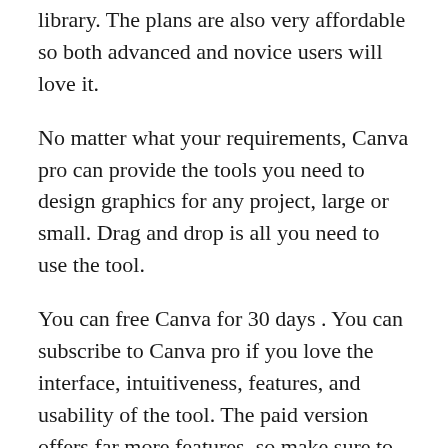library. The plans are also very affordable so both advanced and novice users will love it.
No matter what your requirements, Canva pro can provide the tools you need to design graphics for any project, large or small. Drag and drop is all you need to use the tool.
You can free Canva for 30 days . You can subscribe to Canva pro if you love the interface, intuitiveness, features, and usability of the tool. The paid version offers far more features, so make sure to check it out.
Canva is a free tool. Many people might already perceive it as complex and lacking in features. This tool offers many unique features that you won't find in other tools.